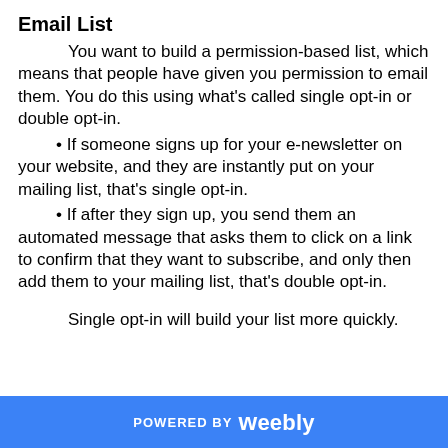Email List
You want to build a permission-based list, which means that people have given you permission to email them. You do this using what's called single opt-in or double opt-in.
If someone signs up for your e-newsletter on your website, and they are instantly put on your mailing list, that's single opt-in.
If after they sign up, you send them an automated message that asks them to click on a link to confirm that they want to subscribe, and only then add them to your mailing list, that's double opt-in.
Single opt-in will build your list more quickly.
POWERED BY weebly